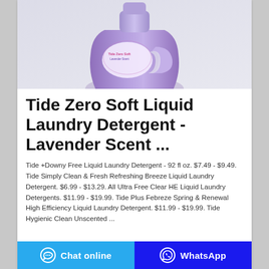[Figure (photo): Purple laundry detergent bottle (Tide Zero Soft Liquid) with lavender scent label, on a light grey background]
Tide Zero Soft Liquid Laundry Detergent - Lavender Scent ...
Tide +Downy Free Liquid Laundry Detergent - 92 fl oz. $7.49 - $9.49. Tide Simply Clean & Fresh Refreshing Breeze Liquid Laundry Detergent. $6.99 - $13.29. All Ultra Free Clear HE Liquid Laundry Detergents. $11.99 - $19.99. Tide Plus Febreze Spring & Renewal High Efficiency Liquid Laundry Detergent. $11.99 - $19.99. Tide Hygienic Clean Unscented ...
Chat online | WhatsApp